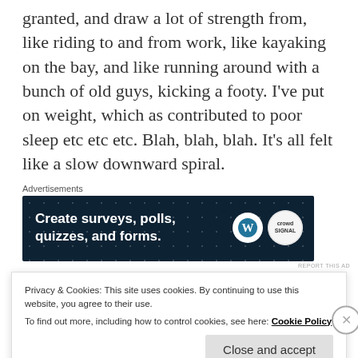granted, and draw a lot of strength from, like riding to and from work, like kayaking on the bay, and like running around with a bunch of old guys, kicking a footy. I've put on weight, which as contributed to poor sleep etc etc etc. Blah, blah, blah. It's all felt like a slow downward spiral.
Advertisements
[Figure (other): Advertisement banner: Create surveys, polls, quizzes, and forms. With WordPress and CrowdSignal logos on dark navy background with dot pattern.]
A few months ago I was running a session for a firm
Privacy & Cookies: This site uses cookies. By continuing to use this website, you agree to their use.
To find out more, including how to control cookies, see here: Cookie Policy
Close and accept